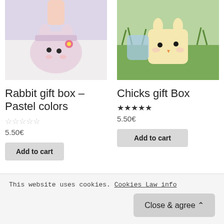[Figure (photo): Rabbit gift box in pastel pink/purple color being held by hand]
[Figure (photo): Chicks gift box in yellow/pastel color sitting on grass]
Rabbit gift box – Pastel colors
☆☆☆☆☆ (empty stars rating)
5.50€
Add to cart
Chicks gift Box
★★★★★ (filled stars rating)
5.50€
Add to cart
This website uses cookies. Cookies Law info
Close & agree